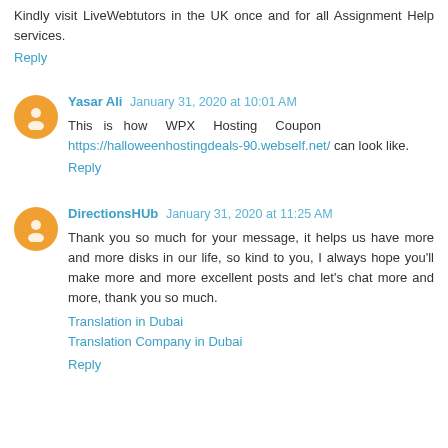Kindly visit LiveWebtutors in the UK once and for all Assignment Help services.
Reply
Yasar Ali  January 31, 2020 at 10:01 AM
This is how WPX Hosting Coupon https://halloweenhostingdeals-90.webself.net/ can look like.
Reply
DirectionsHUb  January 31, 2020 at 11:25 AM
Thank you so much for your message, it helps us have more and more disks in our life, so kind to you, I always hope you'll make more and more excellent posts and let's chat more and more, thank you so much.
Translation in Dubai
Translation Company in Dubai
Reply